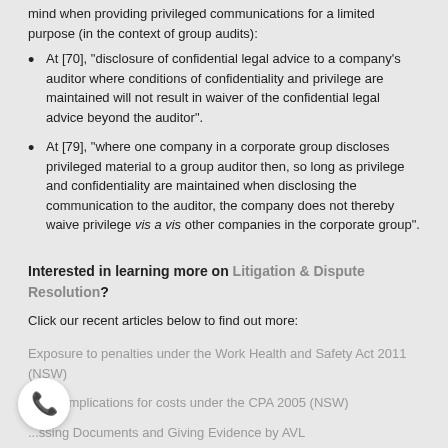mind when providing privileged communications for a limited purpose (in the context of group audits):
At [70], “disclosure of confidential legal advice to a company’s auditor where conditions of confidentiality and privilege are maintained will not result in waiver of the confidential legal advice beyond the auditor”.
At [79], “where one company in a corporate group discloses privileged material to a group auditor then, so long as privilege and confidentiality are maintained when disclosing the communication to the auditor, the company does not thereby waive privilege vis a vis other companies in the corporate group”.
Interested in learning more on Litigation & Dispute Resolution?
Click our recent articles below to find out more:
Exposure to penalties under the Work Health and Safety Act 2011 (NSW)
Some implications for costs under the CPA 2005 (NSW)
...ssing Documents and Giving Evidence by AVL